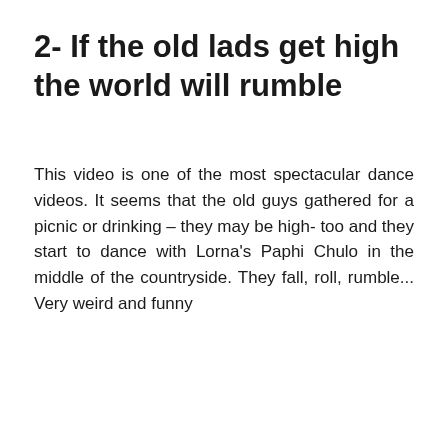2- If the old lads get high the world will rumble
This video is one of the most spectacular dance videos. It seems that the old guys gathered for a picnic or drinking – they may be high- too and they start to dance with Lorna's Paphi Chulo in the middle of the countryside. They fall, roll, rumble... Very weird and funny